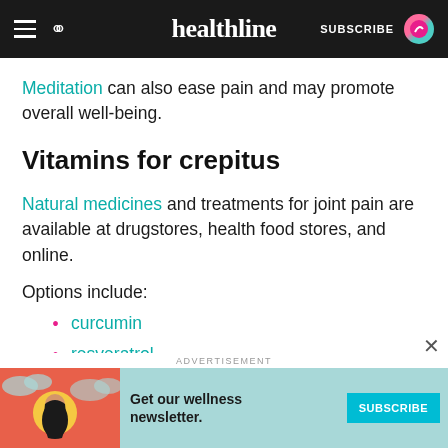healthline — SUBSCRIBE
Meditation can also ease pain and may promote overall well-being.
Vitamins for crepitus
Natural medicines and treatments for joint pain are available at drugstores, health food stores, and online.
Options include:
curcumin
resveratrol
ADVERTISEMENT
[Figure (illustration): Advertisement banner with illustration of woman, text 'Get our wellness newsletter.' and a SUBSCRIBE button]